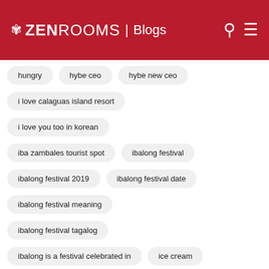ZEN ROOMS | Blogs
hungry
hybe ceo
hybe new ceo
i love calaguas island resort
i love you too in korean
iba zambales tourist spot
ibalong festival
ibalong festival 2019
ibalong festival date
ibalong festival meaning
ibalong festival tagalog
ibalong is a festival celebrated in
ice cream
ifugao
ig places
iglesia ni cristo beliefs